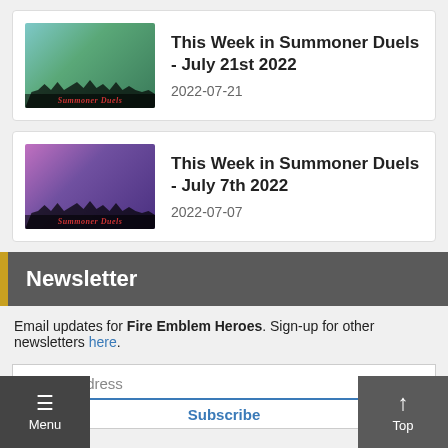[Figure (screenshot): Card with thumbnail for article 'This Week in Summoner Duels - July 21st 2022' dated 2022-07-21]
This Week in Summoner Duels - July 21st 2022
2022-07-21
[Figure (screenshot): Card with thumbnail for article 'This Week in Summoner Duels - July 7th 2022' dated 2022-07-07]
This Week in Summoner Duels - July 7th 2022
2022-07-07
Newsletter
Email updates for Fire Emblem Heroes. Sign-up for other newsletters here.
Email Address
Subscribe